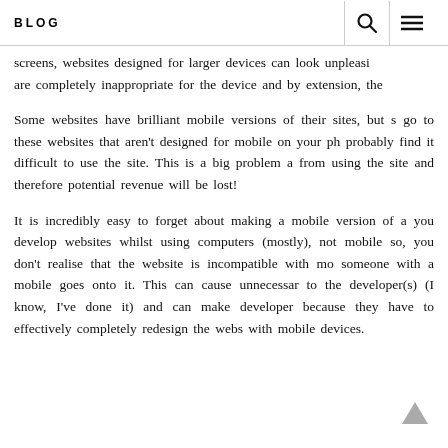BLOG
screens, websites designed for larger devices can look unpleasi are completely inappropriate for the device and by extension, the
Some websites have brilliant mobile versions of their sites, but s go to these websites that aren't designed for mobile on your ph probably find it difficult to use the site. This is a big problem a from using the site and therefore potential revenue will be lost!
It is incredibly easy to forget about making a mobile version of a you develop websites whilst using computers (mostly), not mobile so, you don't realise that the website is incompatible with mo someone with a mobile goes onto it. This can cause unnecessar to the developer(s) (I know, I've done it) and can make developer because they have to effectively completely redesign the webs with mobile devices.